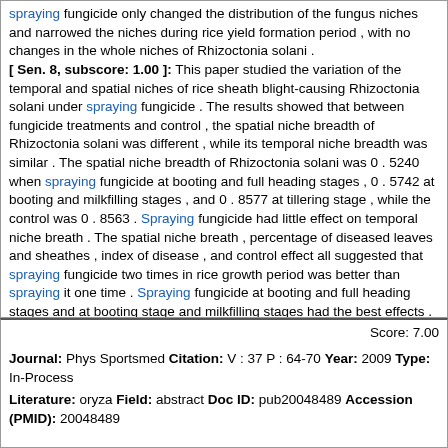spraying fungicide only changed the distribution of the fungus niches and narrowed the niches during rice yield formation period , with no changes in the whole niches of Rhizoctonia solani . [ Sen. 8, subscore: 1.00 ]: This paper studied the variation of the temporal and spatial niches of rice sheath blight-causing Rhizoctonia solani under spraying fungicide . The results showed that between fungicide treatments and control , the spatial niche breadth of Rhizoctonia solani was different , while its temporal niche breadth was similar . The spatial niche breadth of Rhizoctonia solani was 0 . 5240 when spraying fungicide at booting and full heading stages , 0 . 5742 at booting and milkfilling stages , and 0 . 8577 at tillering stage , while the control was 0 . 8563 . Spraying fungicide had little effect on temporal niche breath . The spatial niche breath , percentage of diseased leaves and sheathes , index of disease , and control effect all suggested that spraying fungicide two times in rice growth period was better than spraying it one time . Spraying fungicide at booting and full heading stages and at booting stage and milkfilling stages had the best effects . Fungicide could not only narrow the spatial niche breadth , limit the spread of Rhizoctonia solani on top leaves which were important for the yield , but also narrow the temporal niche breadth , limit the spread of Rhizoctonia solani during the yield formation period of rice . But , spraying fungicide only changed the distribution of the fungus niches and narrowed the niches during rice yield formation period , with no changes in the whole niches of Rhizoctonia solani .
Score: 7.00
Journal: Phys Sportsmed Citation: V : 37 P : 64-70 Year: 2009 Type: In-Process
Literature: oryza Field: abstract Doc ID: pub20048489 Accession (PMID): 20048489